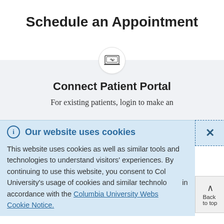Schedule an Appointment
[Figure (illustration): Laptop with chain link icon inside a white circle]
Connect Patient Portal
For existing patients, login to make an
Our website uses cookies
This website uses cookies as well as similar tools and technologies to understand visitors' experiences. By continuing to use this website, you consent to Columbia University's usage of cookies and similar technologies in accordance with the Columbia University Website Cookie Notice.